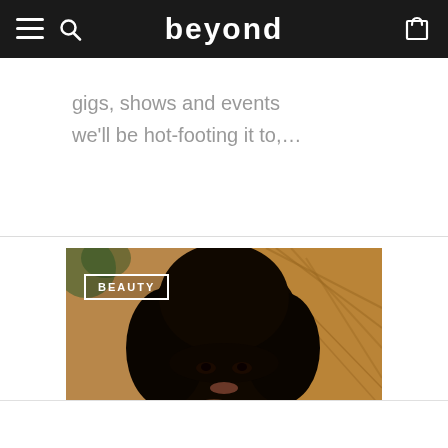beyond — navigation bar with menu, search, and cart icons
gigs, shows and events we'll be hot-footing it to,…
[Figure (photo): A woman with curly natural hair sitting in a wicker chair, resting her chin on her hands. A 'BEAUTY' badge overlay is shown in the top-left of the image.]
BEAUTY